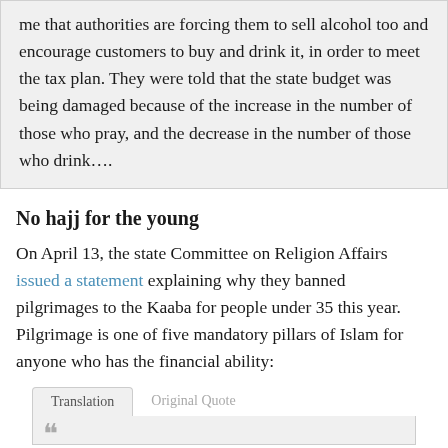me that authorities are forcing them to sell alcohol too and encourage customers to buy and drink it, in order to meet the tax plan. They were told that the state budget was being damaged because of the increase in the number of those who pray, and the decrease in the number of those who drink….
No hajj for the young
On April 13, the state Committee on Religion Affairs issued a statement explaining why they banned pilgrimages to the Kaaba for people under 35 this year. Pilgrimage is one of five mandatory pillars of Islam for anyone who has the financial ability:
Translation | Original Quote